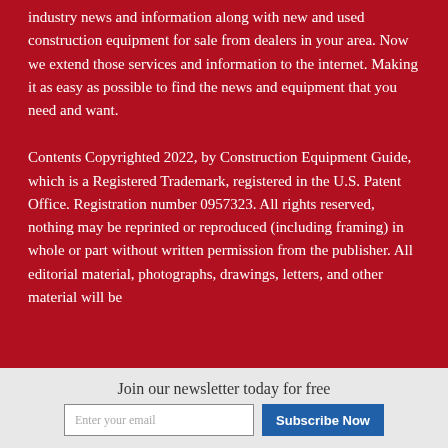industry news and information along with new and used construction equipment for sale from dealers in your area. Now we extend those services and information to the internet. Making it as easy as possible to find the news and equipment that you need and want.
Contents Copyrighted 2022, by Construction Equipment Guide, which is a Registered Trademark, registered in the U.S. Patent Office. Registration number 0957323. All rights reserved, nothing may be reprinted or reproduced (including framing) in whole or part without written permission from the publisher. All editorial material, photographs, drawings, letters, and other material will be
Join our newsletter today for free
Enter your email
Subscribe Now